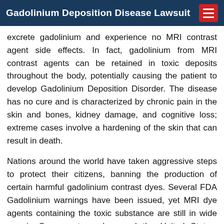Gadolinium Deposition Disease Lawsuit
excrete gadolinium and experience no MRI contrast agent side effects. In fact, gadolinium from MRI contrast agents can be retained in toxic deposits throughout the body, potentially causing the patient to develop Gadolinium Deposition Disorder. The disease has no cure and is characterized by chronic pain in the skin and bones, kidney damage, and cognitive loss; extreme cases involve a hardening of the skin that can result in death.
Nations around the world have taken aggressive steps to protect their citizens, banning the production of certain harmful gadolinium contrast dyes. Several FDA Gadolinium warnings have been issued, yet MRI dye agents containing the toxic substance are still in wide use in Sacramento and around the United States. Persons in Sacramento who have undergone multiple MRIs with high gadolinium levels are at risk for developing gadolinium deposition disorder at any time. Evidence suggests industry executives were aware of